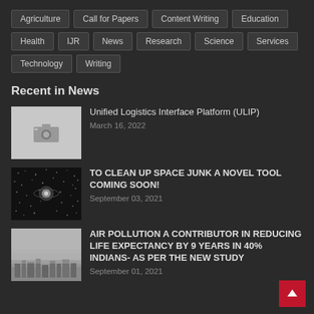Agriculture
Call for Papers
Content Writing
Education
Health
IJR
News
Research
Science
Services
Technology
Writing
Recent in News
[Figure (photo): Placeholder camera icon image for Unified Logistics Interface Platform article]
Unified Logistics Interface Platform (ULIP)
March 16, 2022
[Figure (photo): Black and white image showing space debris or satellite surrounded by debris field]
TO CLEAN UP SPACE JUNK A NOVEL TOOL COMING SOON!
September 03, 2021
[Figure (photo): Hazy smoggy city skyline representing air pollution]
AIR POLLUTION A CONTRIBUTOR IN REDUCING LIFE EXPECTANCY BY 9 YEARS IN 40% INDIANS- AS PER THE NEW STUDY
September 01, 2021